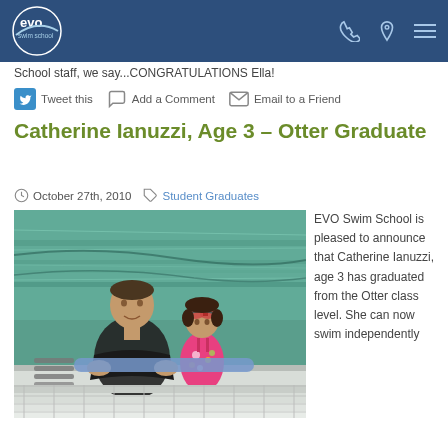EVO Swim School navigation bar
School staff, we say...CONGRATULATIONS Ella!
Tweet this  Add a Comment  Email to a Friend
Catherine Ianuzzi, Age 3 – Otter Graduate
October 27th, 2010   Student Graduates
[Figure (photo): A swim instructor in a black shirt and a young girl wearing goggles and a floral swimsuit in a swimming pool, posing together at the pool edge.]
EVO Swim School is pleased to announce that Catherine Ianuzzi, age 3 has graduated from the Otter class level. She can now swim independently